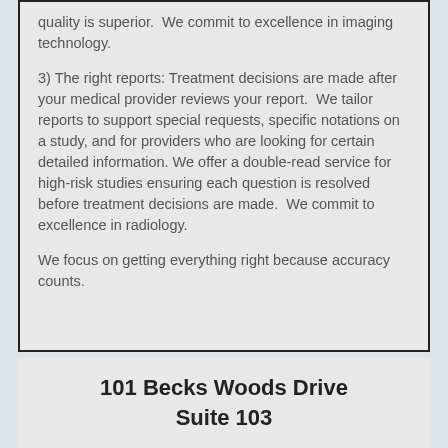quality is superior.  We commit to excellence in imaging technology.
3) The right reports: Treatment decisions are made after your medical provider reviews your report.  We tailor reports to support special requests, specific notations on a study, and for providers who are looking for certain detailed information. We offer a double-read service for high-risk studies ensuring each question is resolved before treatment decisions are made.  We commit to excellence in radiology.
We focus on getting everything right because accuracy counts.
101 Becks Woods Drive
Suite 103